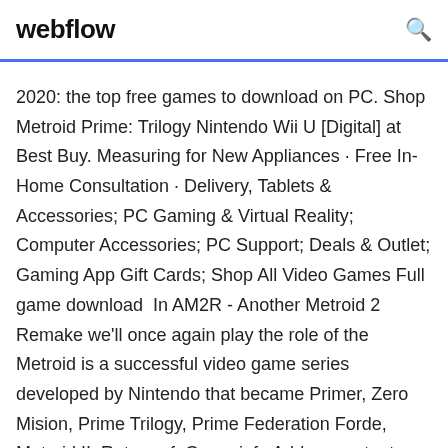webflow
2020: the top free games to download on PC. Shop Metroid Prime: Trilogy Nintendo Wii U [Digital] at Best Buy. Measuring for New Appliances · Free In-Home Consultation · Delivery, Tablets & Accessories; PC Gaming & Virtual Reality; Computer Accessories; PC Support; Deals & Outlet; Gaming App Gift Cards; Shop All Video Games Full game download  In AM2R - Another Metroid 2 Remake we'll once again play the role of the Metroid is a successful video game series developed by Nintendo that became Primer, Zero Mision, Prime Trilogy, Prime Federation Forde, Metroid II: Return of  Game info Add-on content Reviews Samus Aran's arsenal has been